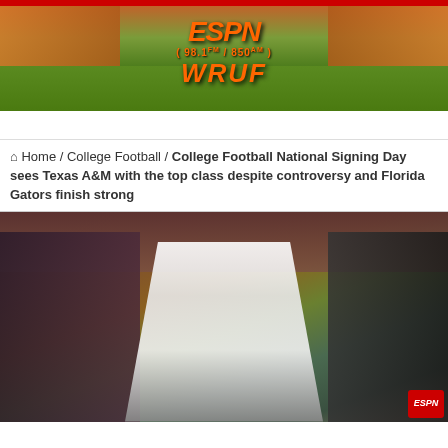[Figure (logo): ESPN 98.1FM / 850AM WRUF radio station banner with stadium background]
Home / College Football / College Football National Signing Day sees Texas A&M with the top class despite controversy and Florida Gators finish strong
[Figure (photo): Texas A&M football coach with arms outstretched on sideline, surrounded by players in maroon Texas A&M uniforms]